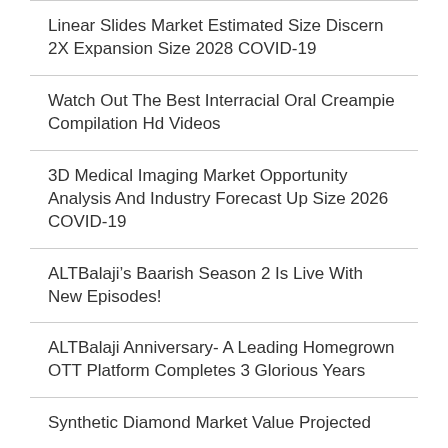Linear Slides Market Estimated Size Discern 2X Expansion Size 2028 COVID-19
Watch Out The Best Interracial Oral Creampie Compilation Hd Videos
3D Medical Imaging Market Opportunity Analysis And Industry Forecast Up Size 2026 COVID-19
ALTBalaji’s Baarish Season 2 Is Live With New Episodes!
ALTBalaji Anniversary- A Leading Homegrown OTT Platform Completes 3 Glorious Years
Synthetic Diamond Market Value Projected